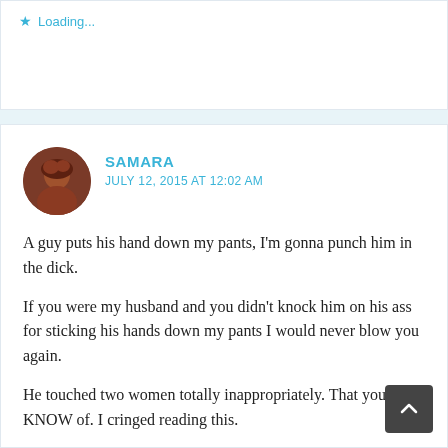Loading...
SAMARA
JULY 12, 2015 AT 12:02 AM
A guy puts his hand down my pants, I'm gonna punch him in the dick.
If you were my husband and you didn't knock him on his ass for sticking his hands down my pants I would never blow you again.
He touched two women totally inappropriately. That you KNOW of. I cringed reading this.